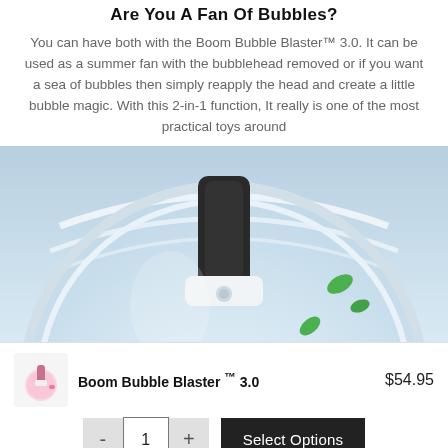Are You A Fan Of Bubbles?
You can have both with the Boom Bubble Blaster™ 3.0. It can be used as a summer fan with the bubblehead removed or if you want a sea of bubbles then simply reapply the head and create a little bubble magic. With this 2-in-1 function, It really is one of the most practical toys around
[Figure (photo): Close-up product photo of the Boom Bubble Blaster 3.0, showing the fan/bubble head unit with a black handle, white body, and green leaf accents, on a light blue background with curved white stripes.]
Boom Bubble Blaster ™ 3.0   $54.95
- 1 +  Select Options